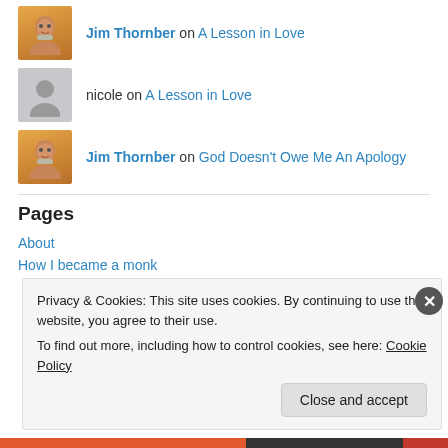Jim Thornber on A Lesson in Love
nicole on A Lesson in Love
Jim Thornber on God Doesn't Owe Me An Apology
Pages
About
How I became a monk
Privacy & Cookies: This site uses cookies. By continuing to use this website, you agree to their use.
To find out more, including how to control cookies, see here: Cookie Policy
Close and accept